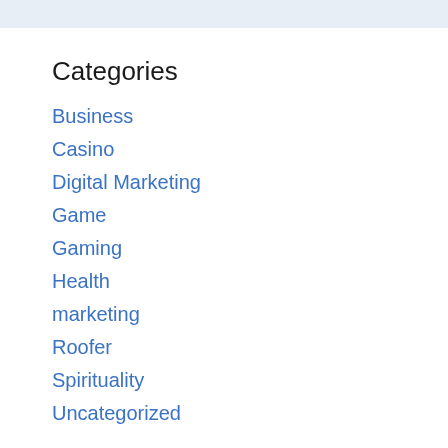Categories
Business
Casino
Digital Marketing
Game
Gaming
Health
marketing
Roofer
Spirituality
Uncategorized